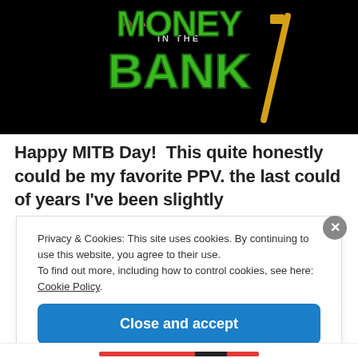[Figure (illustration): WWE Money in the Bank logo on a black background — green stylized text reading 'MONEY IN THE BANK' with a gold briefcase/ladder graphic element]
Happy MITB Day!  This quite honestly could be my favorite PPV. the last could of years I've been slightly
Privacy & Cookies: This site uses cookies. By continuing to use this website, you agree to their use.
To find out more, including how to control cookies, see here: Cookie Policy
Close and accept